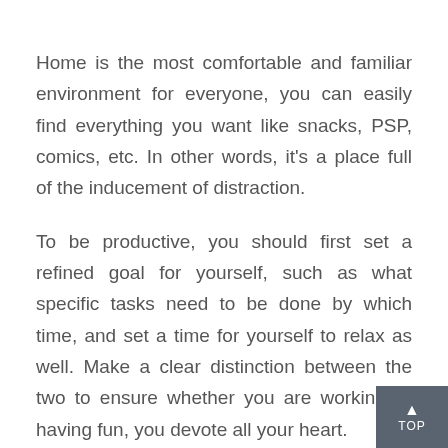Home is the most comfortable and familiar environment for everyone, you can easily find everything you want like snacks, PSP, comics, etc. In other words, it's a place full of the inducement of distraction.
To be productive, you should first set a refined goal for yourself, such as what specific tasks need to be done by which time, and set a time for yourself to relax as well. Make a clear distinction between the two to ensure whether you are working or having fun, you devote all your heart.
If you find it difficult to follow your own custom rules, set up some warnings and rewards, such as alarm